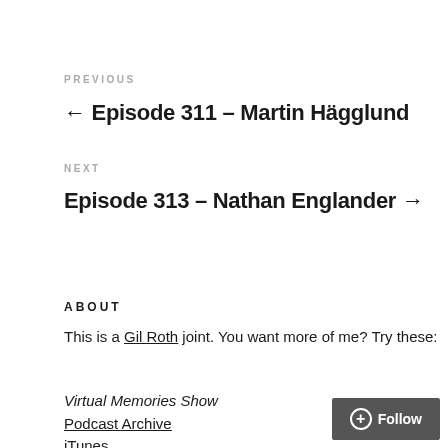PREVIOUS
← Episode 311 – Martin Hägglund
NEXT
Episode 313 – Nathan Englander →
ABOUT
This is a Gil Roth joint. You want more of me? Try these:
Virtual Memories Show
Podcast Archive
iTunes